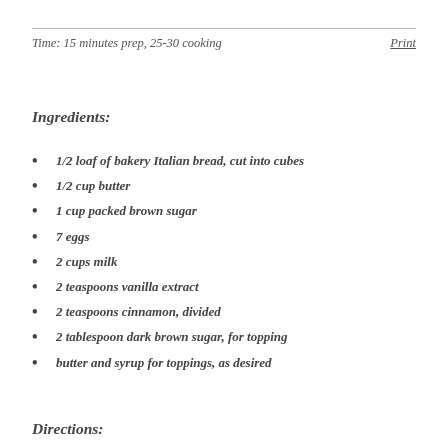Time: 15 minutes prep, 25-30 cooking
Print
Ingredients:
1/2 loaf of bakery Italian bread, cut into cubes
1/2 cup butter
1 cup packed brown sugar
7 eggs
2 cups milk
2 teaspoons vanilla extract
2 teaspoons cinnamon, divided
2 tablespoon dark brown sugar, for topping
butter and syrup for toppings, as desired
Directions: